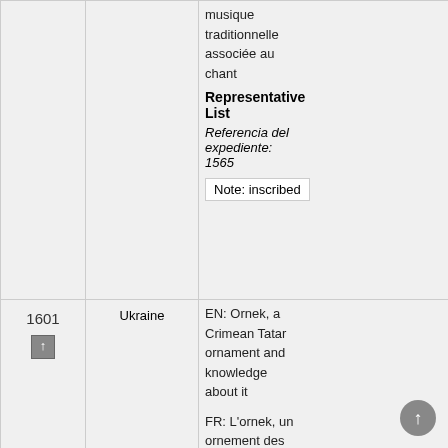| ID | Country | Title/Description | Details |
| --- | --- | --- | --- |
|  |  | musique traditionnelle associée au chant

Representative List

Referencia del expediente: 1565

Note: inscribed |  |
| 1601 ↑ | Ukraine | EN: Ornek, a Crimean Tatar ornament and knowledge about it

FR: L'ornek, un ornement des Tatars de Crimée et les savoirs connexes | N
C

R
Film 'Ornek, a Crimean Tatar ornament and knowledge about it...' |